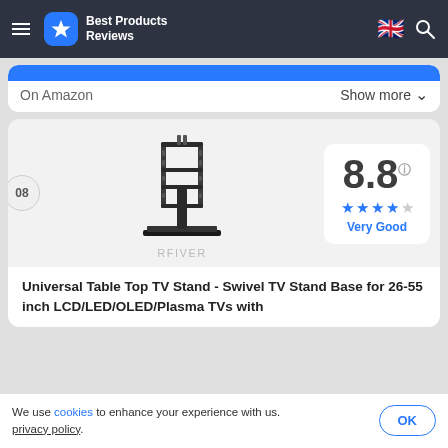Best Products Reviews
On Amazon   Show more
[Figure (photo): RFIVER Universal TV stand / table top mount base for 26-55 inch TVs, showing the metal bracket and glass base]
08
8.8 Very Good
Universal Table Top TV Stand - Swivel TV Stand Base for 26-55 inch LCD/LED/OLED/Plasma TVs with
We use cookies to enhance your experience with us. privacy policy. OK